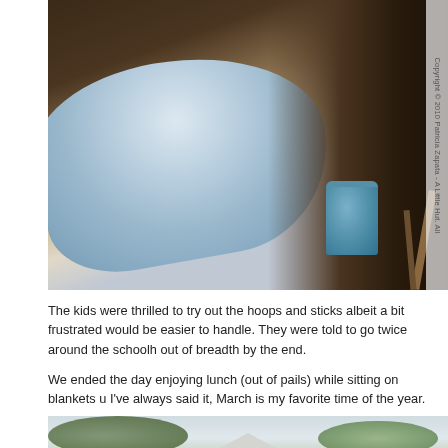[Figure (photo): Photo of blue and light grey/white patterned fabrics draped over what appears to be a wooden surface or furniture, with a blue canister visible in the background. Copyright watermark on the right side reads 'Copyright © 2010 Patricia Zapata - A Little Hut. All']
The kids were thrilled to try out the hoops and sticks albeit a bit frustrated would be easier to handle. They were told to go twice around the schoolh... out of breadth by the end.
We ended the day enjoying lunch (out of pails) while sitting on blankets u... I've always said it, March is my favorite time of the year.
[Figure (photo): Partial photo showing a rooftop with trees visible in the background against a bright sky.]